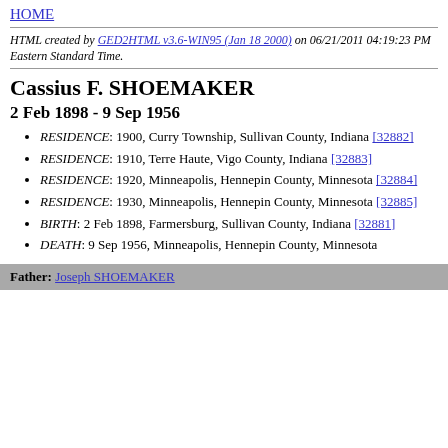HOME
HTML created by GED2HTML v3.6-WIN95 (Jan 18 2000) on 06/21/2011 04:19:23 PM Eastern Standard Time.
Cassius F. SHOEMAKER
2 Feb 1898 - 9 Sep 1956
RESIDENCE: 1900, Curry Township, Sullivan County, Indiana [32882]
RESIDENCE: 1910, Terre Haute, Vigo County, Indiana [32883]
RESIDENCE: 1920, Minneapolis, Hennepin County, Minnesota [32884]
RESIDENCE: 1930, Minneapolis, Hennepin County, Minnesota [32885]
BIRTH: 2 Feb 1898, Farmersburg, Sullivan County, Indiana [32881]
DEATH: 9 Sep 1956, Minneapolis, Hennepin County, Minnesota
Father: Joseph SHOEMAKER